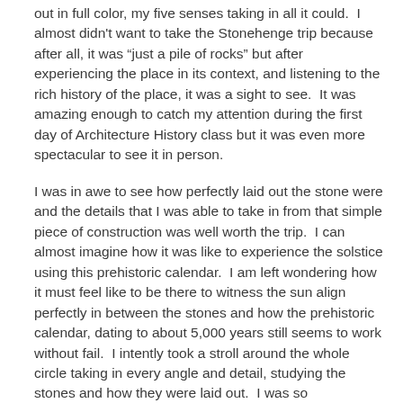out in full color, my five senses taking in all it could.  I almost didn't want to take the Stonehenge trip because after all, it was “just a pile of rocks” but after experiencing the place in its context, and listening to the rich history of the place, it was a sight to see.  It was amazing enough to catch my attention during the first day of Architecture History class but it was even more spectacular to see it in person.
I was in awe to see how perfectly laid out the stone were and the details that I was able to take in from that simple piece of construction was well worth the trip.  I can almost imagine how it was like to experience the solstice using this prehistoric calendar.  I am left wondering how it must feel like to be there to witness the sun align perfectly in between the stones and how the prehistoric calendar, dating to about 5,000 years still seems to work without fail.  I intently took a stroll around the whole circle taking in every angle and detail, studying the stones and how they were laid out.  I was so